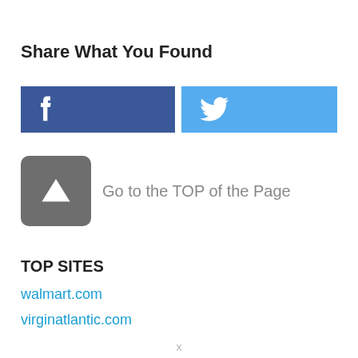Share What You Found
[Figure (infographic): Facebook share button (dark blue with white 'f' icon) and Twitter share button (light blue with white bird icon), side by side]
[Figure (infographic): Grey rounded square button with white upward-pointing caret/arrow icon, followed by grey text 'Go to the TOP of the Page']
TOP SITES
walmart.com
virginatlantic.com